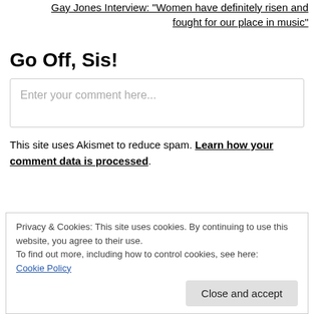Gay Jones Interview: "Women have definitely risen and fought for our place in music"
Go Off, Sis!
Enter your comment here...
This site uses Akismet to reduce spam. Learn how your comment data is processed.
Privacy & Cookies: This site uses cookies. By continuing to use this website, you agree to their use. To find out more, including how to control cookies, see here: Cookie Policy
Close and accept